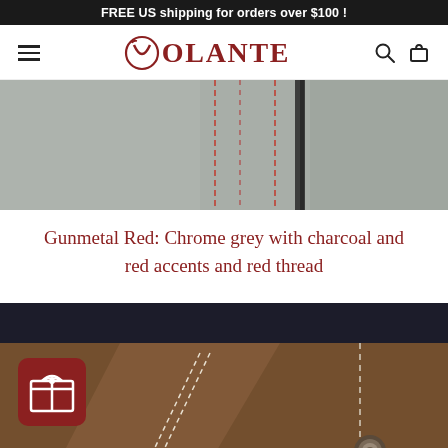FREE US shipping for orders over $100 !
[Figure (logo): Volante brand logo with stylized V icon in dark red/maroon color]
[Figure (photo): Close-up of grey fabric with charcoal and red accent stitching - Gunmetal Red colorway]
Gunmetal Red: Chrome grey with charcoal and red accents and red thread
[Figure (photo): Close-up of dark brown leather/canvas with white stitching and a metal snap button, with dark navy fabric at top]